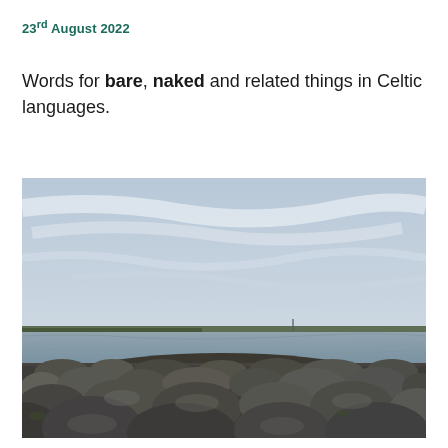23rd August 2022
Words for bare, naked and related things in Celtic languages.
[Figure (photo): A rocky shoreline with large gray stones and boulders in the foreground, a calm body of water in the middle distance, a flat green landmass on the horizon, and a wide overcast sky with wispy clouds above.]